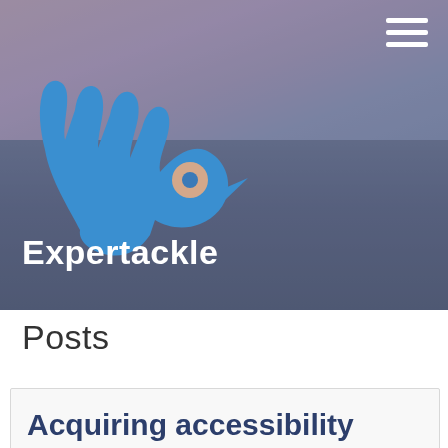[Figure (illustration): Expertackle website header with a blue stylized fish/hand logo on a sunset sky and dark water background, with a white hamburger menu icon in the top right corner]
Expertackle
Posts
Acquiring accessibility